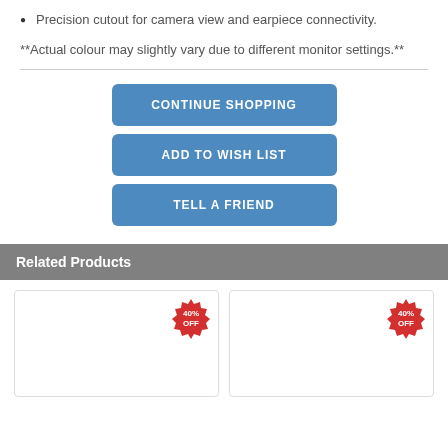Precision cutout for camera view and earpiece connectivity.
**Actual colour may slightly vary due to different monitor settings.**
CONTINUE SHOPPING
ADD TO WISH LIST
TELL A FRIEND
Related Products
[Figure (other): Product card with 40% OFF badge]
[Figure (other): Product card with 40% OFF badge]